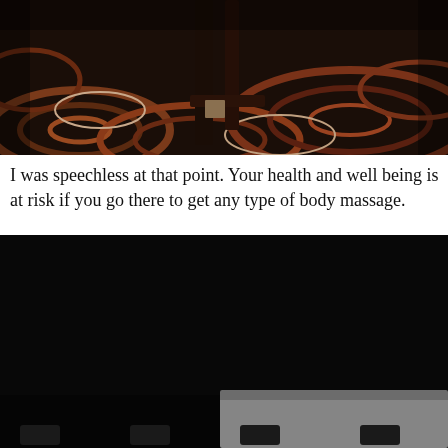[Figure (photo): Dark photo showing what appears to be massage table legs on a patterned carpet with swirling brown and orange design]
I was speechless at that point. Your health and well being is at risk if you go there to get any type of body massage.
[Figure (photo): Very dark/nearly black photo with a faint gray rectangular shape visible at the bottom right, possibly a massage table or equipment in dim lighting]